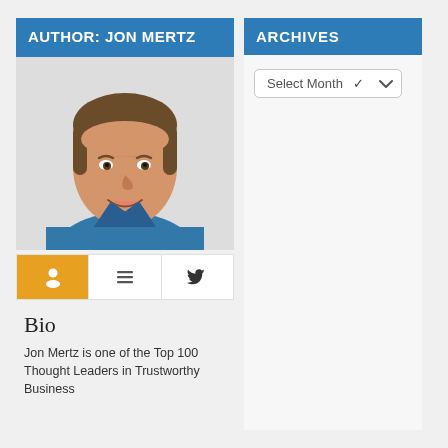AUTHOR: JON MERTZ
[Figure (photo): Headshot photo of Jon Mertz, a middle-aged man with brown hair wearing a blue denim shirt, smiling against a white background.]
[Figure (infographic): Three tab icons: a person/user icon (active, orange background), a list/content icon, and a Twitter bird icon.]
Bio
Jon Mertz is one of the Top 100 Thought Leaders in Trustworthy Business
ARCHIVES
Select Month